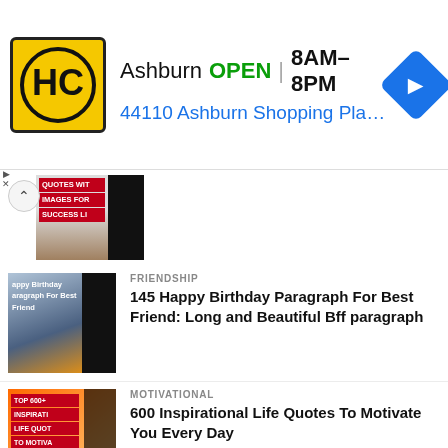[Figure (screenshot): Ad banner for HC store in Ashburn, showing logo, open status, hours, and address]
[Figure (photo): Thumbnail with red overlay text: QUOTES WITH IMAGES FOR SUCCESS LIFE]
FRIENDSHIP
145 Happy Birthday Paragraph For Best Friend: Long and Beautiful Bff paragraph
[Figure (photo): Thumbnail for birthday article]
MOTIVATIONAL
600 Inspirational Life Quotes To Motivate You Every Day
[Figure (photo): Thumbnail for motivational quotes article]
LIFE
28 Amazing Good Morning Quotes and Wishes with Beautiful Images
[Figure (photo): Thumbnail for good morning article]
LIFE